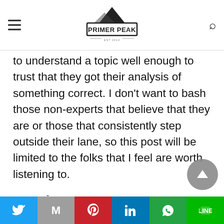Primer Peak (logo, hamburger menu, search icon)
to understand a topic well enough to trust that they got their analysis of something correct. I don't want to bash those non-experts that believe that they are or those that consistently step outside their lane, so this post will be limited to the folks that I feel are worth listening to.
The Gun Experts You Should Trust
This is by no means a comprehensive list of folks, but folks that I have corresponded with recently
Twitter | Gmail | Pinterest | LinkedIn | WhatsApp | Line social share buttons